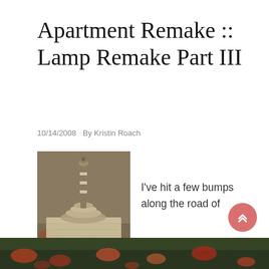Apartment Remake :: Lamp Remake Part III
10/14/2008   By Kristin Roach
[Figure (photo): A lamp base wrapped in newspaper and masking tape, placed on newspaper outdoors with autumn leaves in background.]
I've hit a few bumps along the road of redoing this lamp. Mainly, lots of rain. So today, I woke up and it was sunny out, finally! It's go time lamp! I taped it all up using masking tape and newspaper. I bundled up the cord in some more newspaper and wrapped that up in more tape.
[Figure (photo): Outdoor scene with autumn leaves on ground, bottom strip of page.]